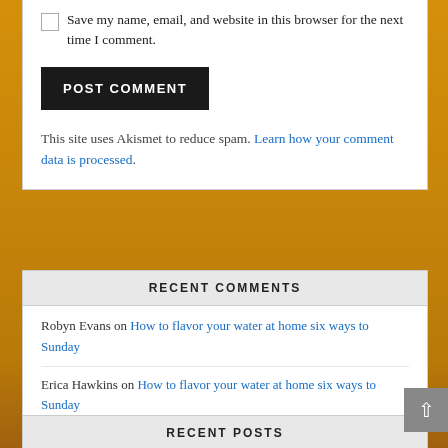Save my name, email, and website in this browser for the next time I comment.
POST COMMENT
This site uses Akismet to reduce spam. Learn how your comment data is processed.
RECENT COMMENTS
Robyn Evans on How to flavor your water at home six ways to Sunday
Erica Hawkins on How to flavor your water at home six ways to Sunday
RECENT POSTS